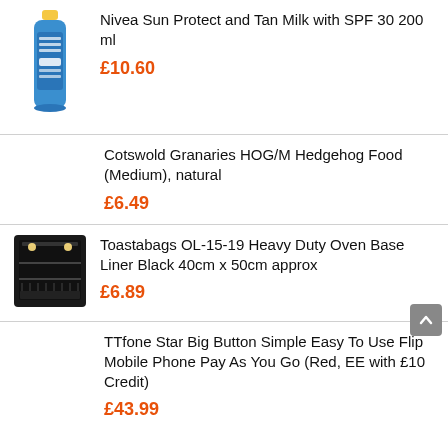[Figure (photo): Blue Nivea Sun Protect and Tan Milk bottle with yellow cap]
Nivea Sun Protect and Tan Milk with SPF 30 200 ml
£10.60
Cotswold Granaries HOG/M Hedgehog Food (Medium), natural
£6.49
[Figure (photo): Interior of an oven with black oven liner on the base]
Toastabags OL-15-19 Heavy Duty Oven Base Liner Black 40cm x 50cm approx
£6.89
TTfone Star Big Button Simple Easy To Use Flip Mobile Phone Pay As You Go (Red, EE with £10 Credit)
£43.99